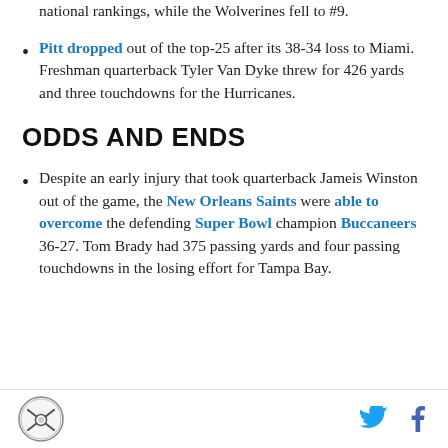Saturday. The Spartans moved up to #3 in the national rankings, while the Wolverines fell to #9.
Pitt dropped out of the top-25 after its 38-34 loss to Miami. Freshman quarterback Tyler Van Dyke threw for 426 yards and three touchdowns for the Hurricanes.
ODDS AND ENDS
Despite an early injury that took quarterback Jameis Winston out of the game, the New Orleans Saints were able to overcome the defending Super Bowl champion Buccaneers 36-27. Tom Brady had 375 passing yards and four passing touchdowns in the losing effort for Tampa Bay.
Logo and social icons